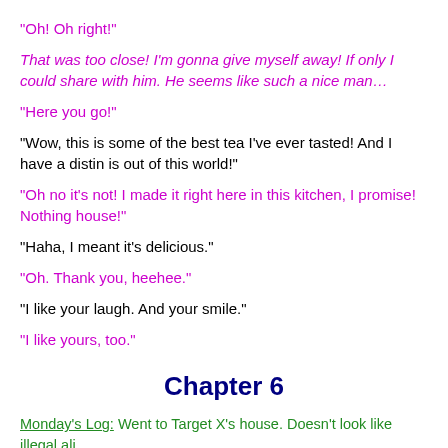“Oh! Oh right!”
That was too close! I’m gonna give myself away! If only I could share with him. He seems like such a nice man…
“Here you go!”
“Wow, this is some of the best tea I’ve ever tasted! And I have a distinct is out of this world!”
“Oh no it’s not! I made it right here in this kitchen, I promise! Nothing house!”
“Haha, I meant it’s delicious.”
“Oh. Thank you, heehee.”
“I like your laugh. And your smile.”
“I like yours, too.”
Chapter 6
Monday’s Log: Went to Target X’s house. Doesn’t look like illegal ali